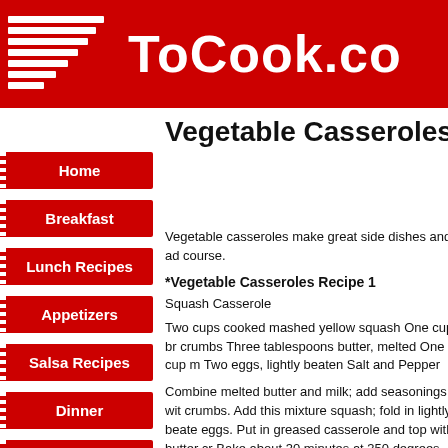ToCook.co
Vegetable Casseroles
Home
Breakfast
Lunch Recipes
Appetizers
Salsa Recipes
Dinner
Chicken Recipes
Casseroles
CrockPot Recipes
Vegetable casseroles make great side dishes and add to any course.
*Vegetable Casseroles Recipe 1
Squash Casserole
Two cups cooked mashed yellow squash One cup br crumbs Three tablespoons butter, melted One cup m Two eggs, lightly beaten Salt and Pepper
Combine melted butter and milk; add seasonings with crumbs. Add this mixture squash; fold in lightly beaten eggs. Put in greased casserole and top with butter cr Bake about 30 minutes at 350 degrees. Even if you